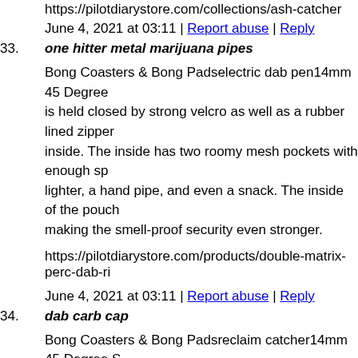https://pilotdiarystore.com/collections/ash-catcher
June 4, 2021 at 03:11 | Report abuse | Reply
33. one hitter metal marijuana pipes
Bong Coasters & Bong Padselectric dab pen14mm 45 Degree is held closed by strong velcro as well as a rubber lined zipper inside. The inside has two roomy mesh pockets with enough sp lighter, a hand pipe, and even a snack. The inside of the pouch making the smell-proof security even stronger.
https://pilotdiarystore.com/products/double-matrix-perc-dab-ri
June 4, 2021 at 03:11 | Report abuse | Reply
34. dab carb cap
Bong Coasters & Bong Padsreclaim catcher14mm 45 Degree S DiamondThe bag is held closed by strong velcro as well as a ru smells locked inside. The inside has two roomy mesh pockets stash as well as a lighter, a hand pipe, and even a snack. The i carbon lining, making the smell-proof security even stronger.
https://pilotdiarystore.com/collections/dab-containers
June 4, 2021 at 03:12 | Report abuse | Reply
35. glass dugout